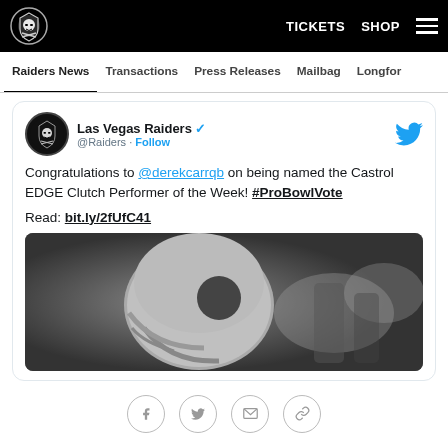Raiders | TICKETS SHOP
Raiders News | Transactions | Press Releases | Mailbag | Longform
[Figure (screenshot): Embedded tweet from Las Vegas Raiders (@Raiders) with verified badge and Twitter bird logo. Tweet text: Congratulations to @derekcarrqb on being named the Castrol EDGE Clutch Performer of the Week! #ProBowlVote Read: bit.ly/2fUfC41. Below the tweet text is a photo of a Raiders player in silver helmet.]
[Figure (photo): Black and white / desaturated photo of Raiders quarterback wearing silver helmet, looking to the side, in game action.]
Congratulations to @derekcarrqb on being named the Castrol EDGE Clutch Performer of the Week! #ProBowlVote

Read: bit.ly/2fUfC41